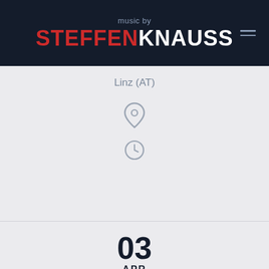music by STEFFEN KNAUSS
Linz (AT)
[Figure (other): Location pin icon (map marker) in gray]
[Figure (other): Clock icon in gray]
03 APR
Yasi Hofer Trio – Freedom 2019 Tour
Passau